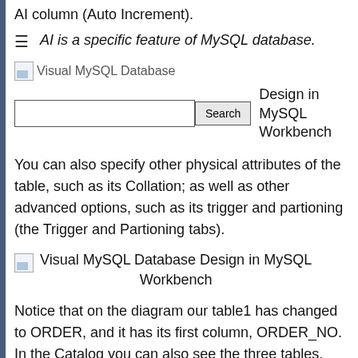AI column (Auto Increment).
AI is a specific feature of MySQL database.
[Figure (screenshot): Browser screenshot showing Visual MySQL Database page with search box and Search button, with caption 'Design in MySQL Workbench']
You can also specify other physical attributes of the table, such as its Collation; as well as other advanced options, such as its trigger and partioning (the Trigger and Partioning tabs).
[Figure (screenshot): Broken image placeholder with caption 'Visual MySQL Database Design in MySQL Workbench']
Notice that on the diagram our table1 has changed to ORDER, and it has its first column, ORDER_NO. In the Catalog you can also see the three tables.